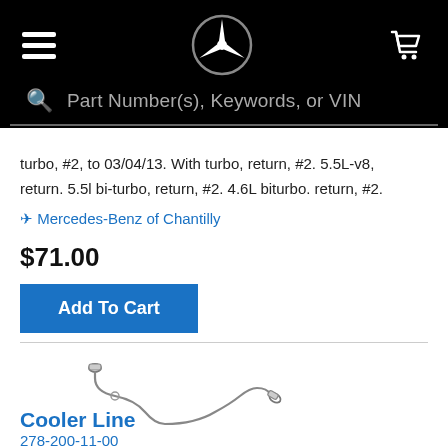Mercedes-Benz parts store header with hamburger menu, Mercedes star logo, and cart icon
Part Number(s), Keywords, or VIN
turbo, #2, to 03/04/13. With turbo, return, #2. 5.5L-v8, return. 5.5l bi-turbo, return, #2. 4.6L biturbo. return, #2.
Mercedes-Benz of Chantilly
$71.00
Add To Cart
[Figure (photo): Cooler line automotive part — a metal brake/coolant line with curved ends and connectors]
Cooler Line
278-200-11-00